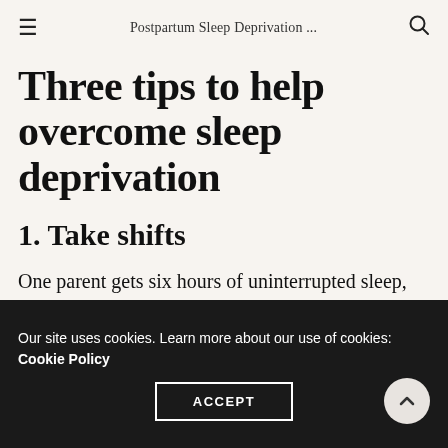Postpartum Sleep Deprivation ...
Three tips to help overcome sleep deprivation
1. Take shifts
One parent gets six hours of uninterrupted sleep, where the other handles any wake-ups and feedings. Then they switch so the other parent can have six uninterrupted hours
Our site uses cookies. Learn more about our use of cookies: Cookie Policy  ACCEPT